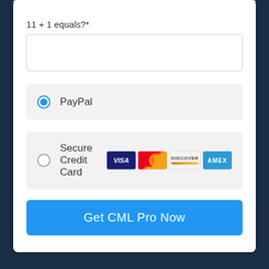11 + 1 equals?*
[Figure (other): Empty text input field for math CAPTCHA answer]
PayPal (selected radio button)
Secure Credit Card (with Visa, MasterCard, Discover, Amex icons)
Get CML Pro Now